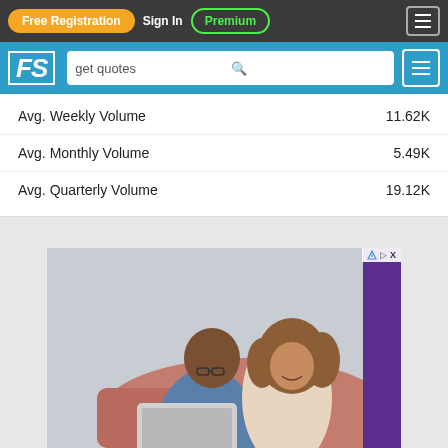Free Registration | Sign In | Premium | [menu]
[Figure (screenshot): Website navigation bar with FS logo and search box containing 'get quotes']
| Metric | Value |
| --- | --- |
| Avg. Weekly Volume | 11.62K |
| Avg. Monthly Volume | 5.49K |
| Avg. Quarterly Volume | 19.12K |
[Figure (photo): Advertisement banner showing a couple sitting on a couch looking at a laptop and smiling, with a purple sidebar on the right]